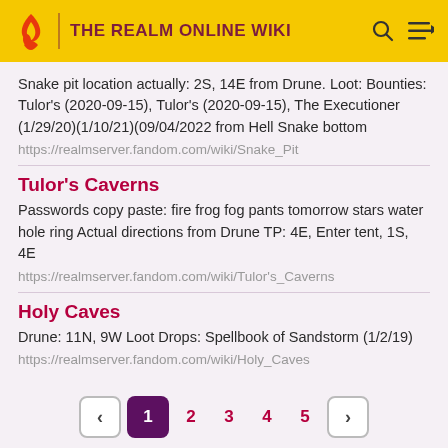THE REALM ONLINE WIKI
Snake pit location actually: 2S, 14E from Drune. Loot: Bounties: Tulor's (2020-09-15), Tulor's (2020-09-15), The Executioner (1/29/20)(1/10/21)(09/04/2022 from Hell Snake bottom
https://realmserver.fandom.com/wiki/Snake_Pit
Tulor's Caverns
Passwords copy paste: fire frog fog pants tomorrow stars water hole ring Actual directions from Drune TP: 4E, Enter tent, 1S, 4E
https://realmserver.fandom.com/wiki/Tulor's_Caverns
Holy Caves
Drune: 11N, 9W Loot Drops: Spellbook of Sandstorm (1/2/19)
https://realmserver.fandom.com/wiki/Holy_Caves
< 1 2 3 4 5 >